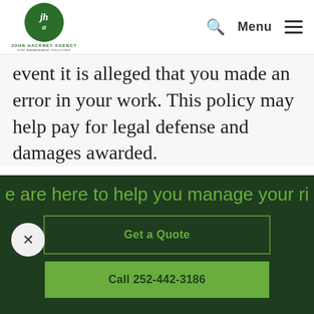John Hackney Agency — Risk Management Solutions | Search | Menu
event it is alleged that you made an error in your work. This policy may help pay for legal defense and damages awarded.
Mechanical contractor insurance for a business on the move
e are here to help you manage your ri
Get a Quote
Call 252-442-3186